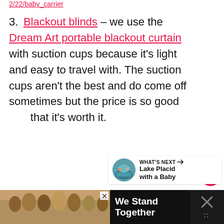2/22/baby_carrier
3. Blackout blinds – we use the Dream Art portable blackout curtain with suction cups because it's light and easy to travel with. The suction cups aren't the best and do come off sometimes but the price is so good that it's worth it.
[Figure (infographic): What's Next box with lake placid with a baby thumbnail]
[Figure (infographic): Advertisement banner showing group of people and We Stand Together text]